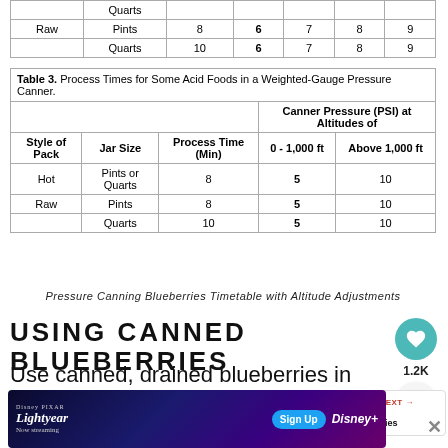|  | Quarts |  |  |  |  |  |
| --- | --- | --- | --- | --- | --- | --- |
| Raw | Pints | 8 | 6 | 7 | 8 | 9 |
|  | Quarts | 10 | 6 | 7 | 8 | 9 |
| Style of Pack | Jar Size | Process Time (Min) | 0 - 1,000 ft | Above 1,000 ft |
| --- | --- | --- | --- | --- |
| Hot | Pints or Quarts | 8 | 5 | 10 |
| Raw | Pints | 8 | 5 | 10 |
|  | Quarts | 10 | 5 | 10 |
Pressure Canning Blueberries Timetable with Altitude Adjustments
USING CANNED BLUEBERRIES
Use canned, drained blueberries in place of fresh or frozen in muf quick bread, pancakes, and other baked g